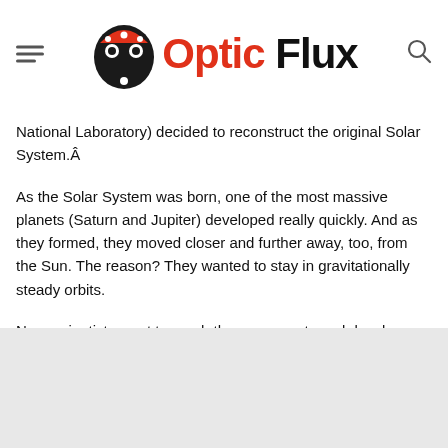Optic Flux
National Laboratory) decided to reconstruct the original Solar System.Â
As the Solar System was born, one of the most massive planets (Saturn and Jupiter) developed really quickly. And as they formed, they moved closer and further away, too, from the Sun. The reason? They wanted to stay in gravitationally steady orbits.
Now, scientists want to reach those moments and develop almost the same architecture.